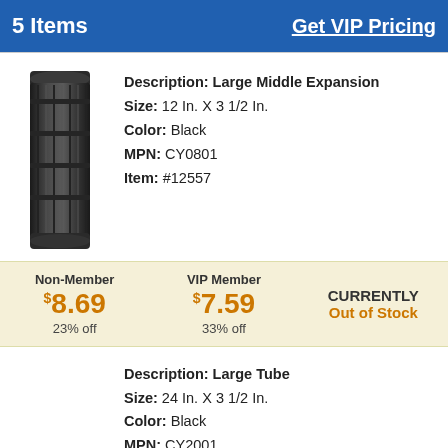5 Items   Get VIP Pricing
[Figure (photo): Black cylindrical Large Middle Expansion tube, approximately 12 In. x 3 1/2 In., shown vertically]
Description: Large Middle Expansion
Size: 12 In. X 3 1/2 In.
Color: Black
MPN: CY0801
Item: #12557
| Non-Member | VIP Member |  |
| --- | --- | --- |
| $8.69 | $7.59 | CURRENTLY Out of Stock |
| 23% off | 33% off |  |
Description: Large Tube
Size: 24 In. X 3 1/2 In.
Color: Black
MPN: CY2001
Item: #62886